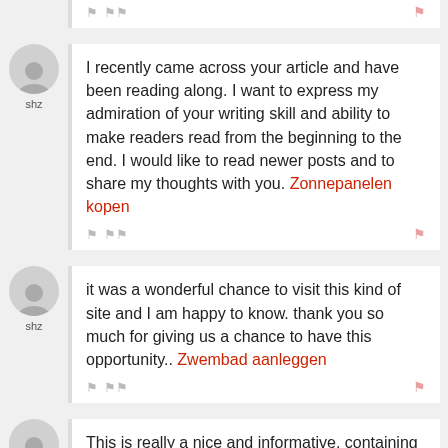I recently came across your article and have been reading along. I want to express my admiration of your writing skill and ability to make readers read from the beginning to the end. I would like to read newer posts and to share my thoughts with you. Zonnepanelen kopen
it was a wonderful chance to visit this kind of site and I am happy to know. thank you so much for giving us a chance to have this opportunity.. Zwembad aanleggen
This is really a nice and informative, containing all information and also has a